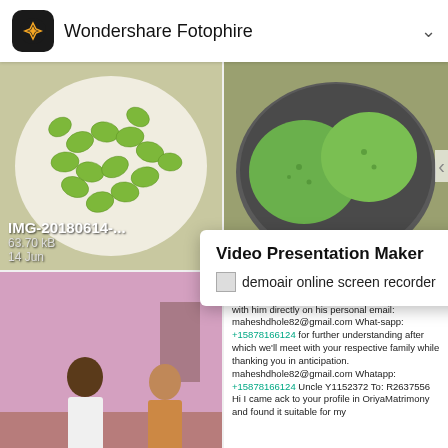Wondershare Fotophire
[Figure (photo): Green oval fruits/seeds arranged on a white plate, viewed from above]
[Figure (photo): Green round patties/food items in a dark metallic tray]
IMG-20180614-...
63.70 kB
14 Jun
Video Presentation Maker
demoair online screen recorder
[Figure (photo): Family members sitting in a room with pink walls]
[Figure (screenshot): Chat or matrimony message text screenshot]
IMG-20180614-WA0...
93.77 kB
14 Jun
IMG-20180614-WA0...
115 kB